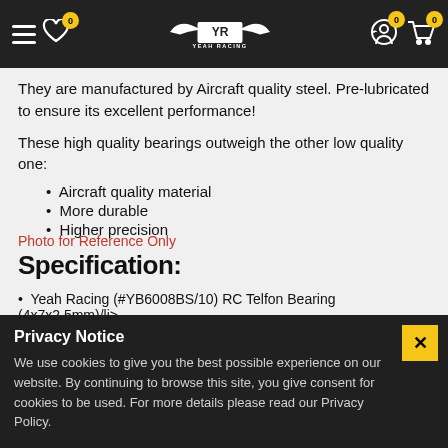Yeah Racing navigation bar with hamburger menu, wishlist (0), logo, account (0), cart (0)
They are manufactured by Aircraft quality steel. Pre-lubricated to ensure its excellent performance!
These high quality bearings outweigh the other low quality one:
Aircraft quality material
More durable
Higher precision
Specification:
Yeah Racing (#YB6008BS/10) RC Telfon Bearing (4x7x2.5mm)/li>
Material: Metal
Included:
Photo for Reference Only
Privacy Notice
We use cookies to give you the best possible experience on our website. By continuing to browse this site, you give consent for cookies to be used. For more details please read our Privacy Policy.